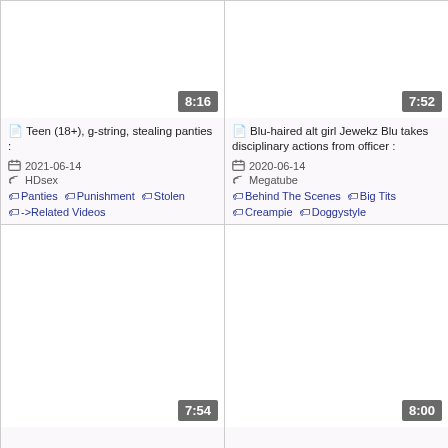[Figure (screenshot): Video thumbnail placeholder (white) with duration badge 8:16, top-left card]
Teen (18+), g-string, stealing panties :
2021-06-14
HDsex
Panties  Punishment  Stolen  ->Related Videos
[Figure (screenshot): Video thumbnail placeholder (white) with duration badge 7:52, top-right card]
Blu-haired alt girl Jewekz Blu takes disciplinary actions from officer :
2020-06-14
Megatube
Behind The Scenes  Big Tits  Creampie  Doggystyle
[Figure (screenshot): Video thumbnail placeholder (white) with duration badge 7:54, bottom-left card]
[Figure (screenshot): Video thumbnail placeholder (white) with duration badge 8:00, bottom-right card]